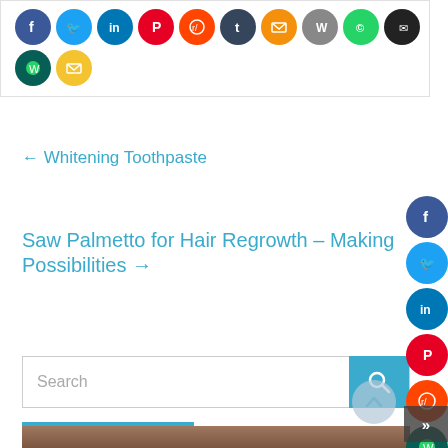[Figure (other): Social share icons row: Facebook (blue), Twitter (light blue), LinkedIn (blue), Pinterest (red), Reddit (orange-red), Tumblr (navy), Email/envelope (orange), WordPress (grey), Viber/green, dark circle, then WhatsApp (green) and email (yellow) on second row]
← Whitening Toothpaste
Saw Palmetto for Hair Regrowth – Making Possibilities →
[Figure (other): Vertical sidebar social icons: Facebook, Twitter, LinkedIn, Pinterest, Reddit, WhatsApp, Email]
Search
HI! I'M Dawn Wallace
[Figure (photo): Partial photo of a person with brown/reddish hair against a brick wall background]